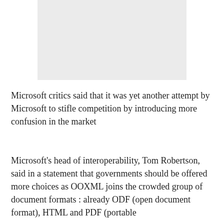[Figure (other): A light gray rectangular placeholder image at the top of the page]
Microsoft critics said that it was yet another attempt by Microsoft to stifle competition by introducing more confusion in the market
Microsoft's head of interoperability, Tom Robertson, said in a statement that governments should be offered more choices as OOXML joins the crowded group of document formats : already ODF (open document format), HTML and PDF (portable